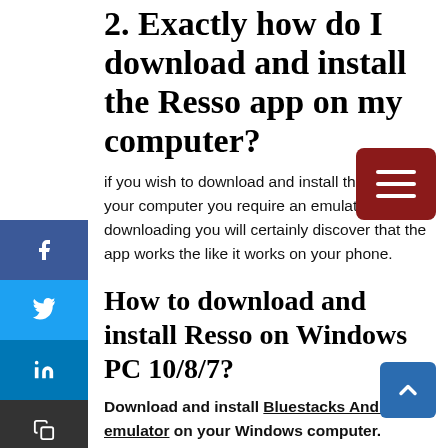2. Exactly how do I download and install the Resso app on my computer?
If you wish to download and install the app on your computer you require an emulator. After downloading you will certainly discover that the app works the like it works on your phone.
How to download and install Resso on Windows PC 10/8/7?
Download and install Bluestacks Android emulator on your Windows computer.
Run the emulator on your Computer.
Visit to your Google account.